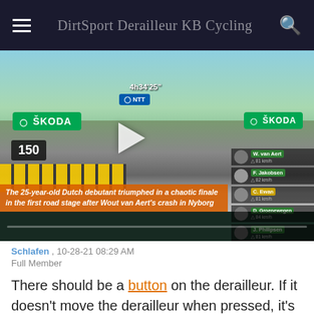DirtSport Derailleur KB Cycling
[Figure (photo): Video thumbnail of a Tour de France sprint finish with ŠKODA branding, NTT badge, leaderboard showing W. van Aert, F. Jakobsen, C. Ewan, D. Groenewegen, J. Philipsen, and an orange caption bar reading 'The 25-year-old Dutch debutant triumphed in a chaotic finale in the first road stage after Wout van Aert's crash in Nyborg']
Schlafen , 10-28-21 08:29 AM
Full Member
There should be a button on the derailleur. If it doesn't move the derailleur when pressed, it's time for a new one.